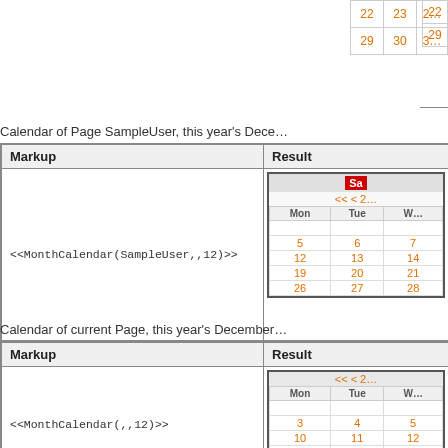| 22 | 23 | 2x |
| 29 | 30 | 3x |
Calendar of Page SampleUser, this year's Dece...
| Markup | Result |
| --- | --- |
| <<MonthCalendar(SampleUser,,12)>> | [calendar widget showing December with SampleUser] |
Calendar of current Page, this year's December...
| Markup | Result |
| --- | --- |
| <<MonthCalendar(,,12)>> | [calendar widget showing December current page] |